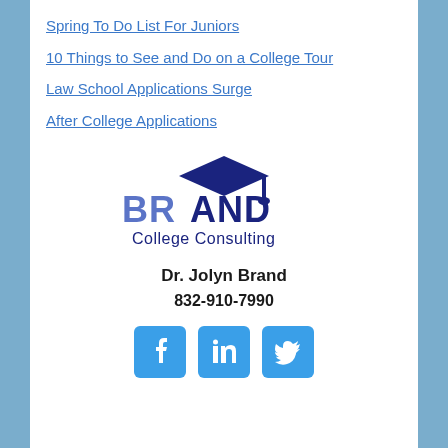Spring To Do List For Juniors
10 Things to See and Do on a College Tour
Law School Applications Surge
After College Applications
[Figure (logo): Brand College Consulting logo with graduation cap]
Dr. Jolyn Brand
832-910-7990
[Figure (infographic): Social media icons: Facebook, LinkedIn, Twitter]